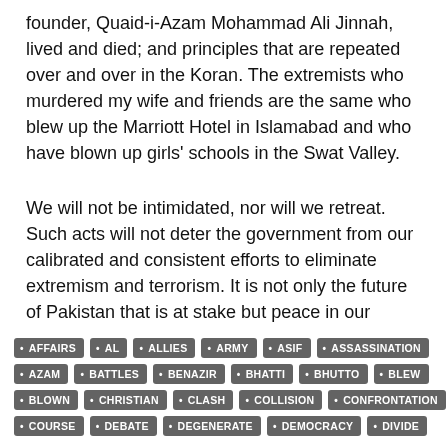founder, Quaid-i-Azam Mohammad Ali Jinnah, lived and died; and principles that are repeated over and over in the Koran. The extremists who murdered my wife and friends are the same who blew up the Marriott Hotel in Islamabad and who have blown up girls' schools in the Swat Valley.
We will not be intimidated, nor will we retreat. Such acts will not deter the government from our calibrated and consistent efforts to eliminate extremism and terrorism. It is not only the future of Pakistan that is at stake but peace in our region and possibly the world.
Read more : The Washington Post
AFFAIRS
AL
ALLIES
ARMY
ASIF
ASSASSINATION
AZAM
BATTLES
BENAZIR
BHATTI
BHUTTO
BLEW
BLOWN
CHRISTIAN
CLASH
COLLISION
CONFRONTATION
COURSE
DEBATE
DEGENERATE
DEMOCRACY
DIVIDE